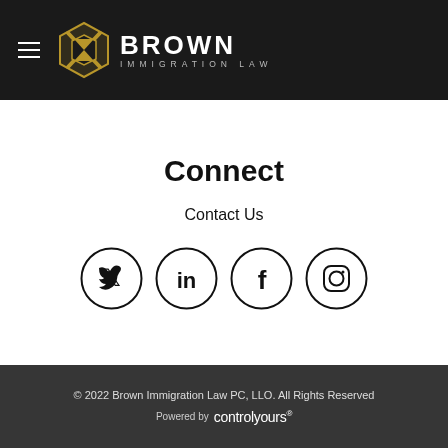Brown Immigration Law
Connect
Contact Us
[Figure (illustration): Four social media icons in circles: Twitter (bird), LinkedIn (in), Facebook (f), Instagram (camera)]
© 2022 Brown Immigration Law PC, LLO. All Rights Reserved
Powered by controlyours®